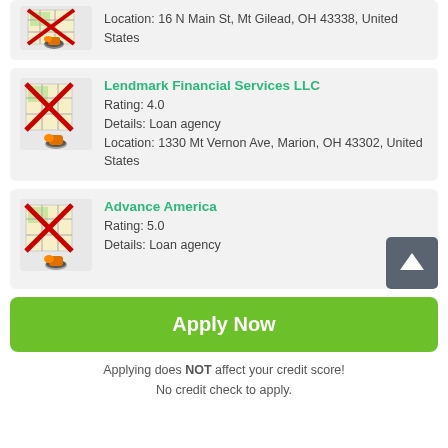Location: 16 N Main St, Mt Gilead, OH 43338, United States
Lendmark Financial Services LLC
Rating: 4.0
Details: Loan agency
Location: 1330 Mt Vernon Ave, Marion, OH 43302, United States
Advance America
Rating: 5.0
Details: Loan agency
Apply Now
Applying does NOT affect your credit score!
No credit check to apply.